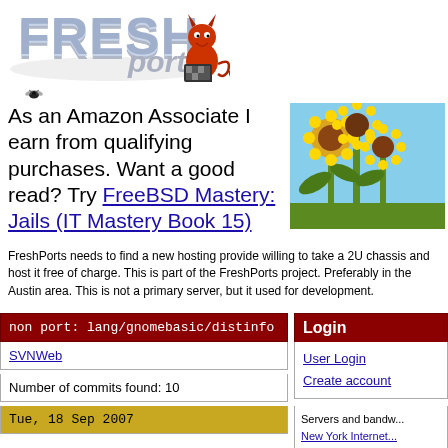[Figure (logo): FreshPorts logo with stylized text and BSD devil mascot]
[Figure (photo): Small bug/fly icon]
As an Amazon Associate I earn from qualifying purchases. Want a good read? Try FreeBSD Mastery: Jails (IT Mastery Book 15)
[Figure (photo): Photo of sunflowers in a field against blue sky]
FreshPorts needs to find a new hosting provide willing to take a 2U chassis and host it free of charge. This is part of the FreshPorts project. Preferably in the Austin area. This is not a primary server, but it used for development.
non port: lang/gnomebasic/distinfo
SVNWeb
Number of commits found: 10
Tue, 18 Sep 2007
Login
User Login
Create account
Servers and bandw...
New York Internet...
RootBs...